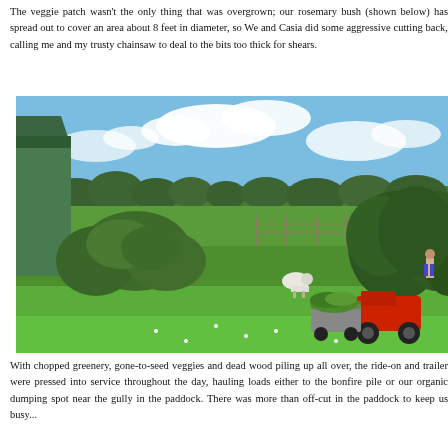The veggie patch wasn't the only thing that was overgrown; our rosemary bush (shown below) has spread out to cover an area about 8 feet in diameter, so We and Casia did some aggressive cutting back, calling me and my trusty chainsaw to deal to the bits too thick for shears.
[Figure (photo): Outdoor rural garden scene with lush green grass, large rosemary bushes on the left, trees in the background under a blue sky with clouds, a white sheep grazing in the middle ground, and a red ride-on mower with a trailer loaded with cut greenery on the right side.]
With chopped greenery, gone-to-seed veggies and dead wood piling up all over, the ride-on and trailer were pressed into service throughout the day, hauling loads either to the bonfire pile or our organic dumping spot near the gully in the paddock. There was more than off-cut in the paddock to keep us busy...